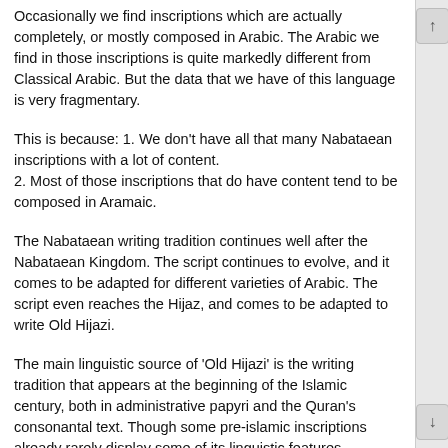Occasionally we find inscriptions which are actually completely, or mostly composed in Arabic. The Arabic we find in those inscriptions is quite markedly different from Classical Arabic. But the data that we have of this language is very fragmentary.
This is because: 1. We don't have all that many Nabataean inscriptions with a lot of content.
2. Most of those inscriptions that do have content tend to be composed in Aramaic.
The Nabataean writing tradition continues well after the Nabataean Kingdom. The script continues to evolve, and it comes to be adapted for different varieties of Arabic. The script even reaches the Hijaz, and comes to be adapted to write Old Hijazi.
The main linguistic source of 'Old Hijazi' is the writing tradition that appears at the beginning of the Islamic century, both in administrative papyri and the Quran's consonantal text. Though some pre-islamic inscriptions already rarely display some of its linguistic features.
This thread is already getting a little bit long, but works as a nice set-up for what is to come. In the next thread, I will compare some features that distinguish Nabataean from Old Hijazi, and will examine how some of